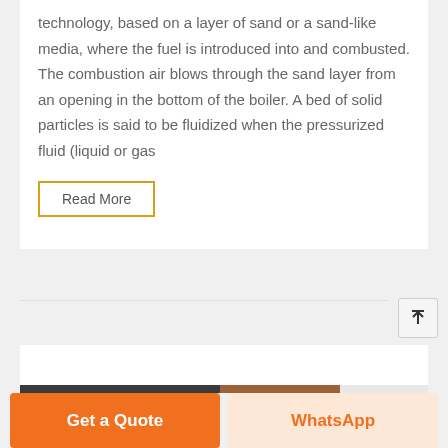technology, based on a layer of sand or a sand-like media, where the fuel is introduced into and combusted. The combustion air blows through the sand layer from an opening in the bottom of the boiler. A bed of solid particles is said to be fluidized when the pressurized fluid (liquid or gas
Read More
[Figure (photo): Partial view of industrial/engineering equipment photo strip at bottom of a card]
Get a Quote
WhatsApp